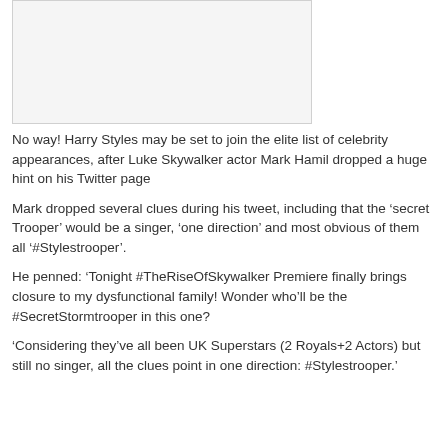[Figure (photo): Image placeholder at top of article]
No way! Harry Styles may be set to join the elite list of celebrity appearances, after Luke Skywalker actor Mark Hamil dropped a huge hint on his Twitter page
Mark dropped several clues during his tweet, including that the ‘secret Trooper’ would be a singer, ‘one direction’ and most obvious of them all ‘#Stylestrooper’.
He penned: ‘Tonight #TheRiseOfSkywalker Premiere finally brings closure to my dysfunctional family! Wonder who’ll be the #SecretStormtrooper in this one?
‘Considering they’ve all been UK Superstars (2 Royals+2 Actors) but still no singer, all the clues point in one direction: #Stylestrooper.’